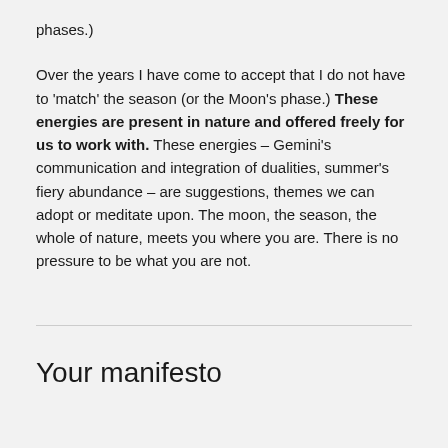phases.)
Over the years I have come to accept that I do not have to 'match' the season (or the Moon's phase.) These energies are present in nature and offered freely for us to work with. These energies – Gemini's communication and integration of dualities, summer's fiery abundance – are suggestions, themes we can adopt or meditate upon. The moon, the season, the whole of nature, meets you where you are. There is no pressure to be what you are not.
Your manifesto